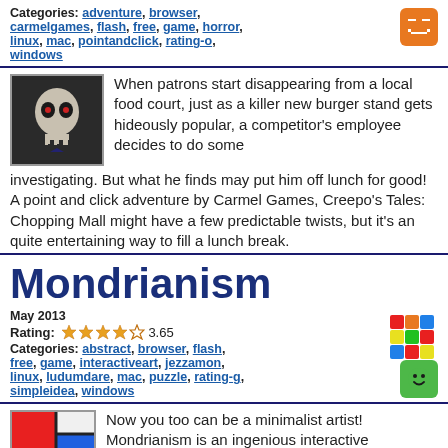Categories: adventure, browser, carmelgames, flash, free, game, horror, linux, mac, pointandclick, rating-o, windows
When patrons start disappearing from a local food court, just as a killer new burger stand gets hideously popular, a competitor's employee decides to do some investigating. But what he finds may put him off lunch for good! A point and click adventure by Carmel Games, Creepo's Tales: Chopping Mall might have a few predictable twists, but it's an quite entertaining way to fill a lunch break.
Mondrianism
May 2013
Rating: 3.65
Categories: abstract, browser, flash, free, game, interactiveart, jezzamon, linux, ludumdare, mac, puzzle, rating-g, simpleidea, windows
Now you too can be a minimalist artist! Mondrianism is an ingenious interactive